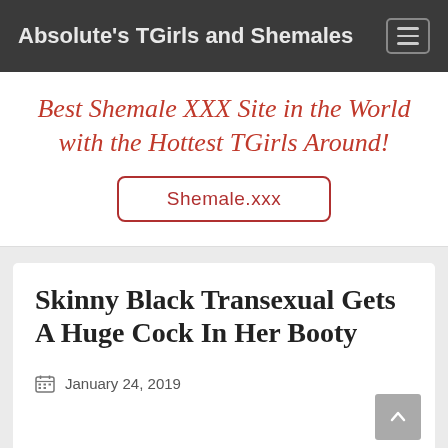Absolute's TGirls and Shemales
Best Shemale XXX Site in the World with the Hottest TGirls Around!
Shemale.xxx
Skinny Black Transexual Gets A Huge Cock In Her Booty
January 24, 2019